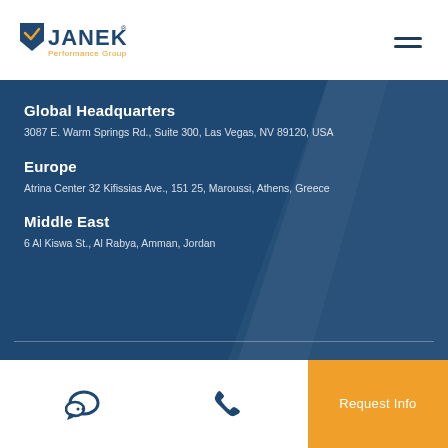[Figure (logo): Janek Performance Group logo with orange checkmark/shield icon and dark blue JANEK text]
Global Headquarters
3087 E. Warm Springs Rd., Suite 300, Las Vegas, NV 89120, USA
Europe
Atrina Center 32 Kifissias Ave., 151 25, Maroussi, Athens, Greece
Middle East
6 Al Kiswa St., Al Rabya, Amman, Jordan
[Figure (infographic): Chat icon, phone icon, and orange Request Info button in bottom navigation bar]